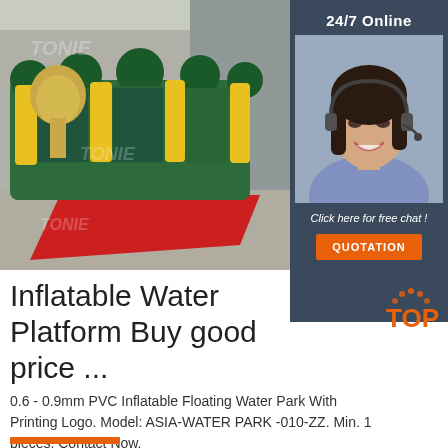[Figure (photo): Large inflatable water platform/bouncy structure in green, yellow and teal colors set up outdoors on red carpet, with warehouse buildings in background. Photo has 'TONIE' watermarks overlaid.]
[Figure (photo): Sidebar showing '24/7 Online' label, photo of female customer service agent with headset smiling, 'Click here for free chat!' text, and orange QUOTATION button, all on dark blue-grey background.]
Inflatable Water Platform Buy good price ...
0.6 - 0.9mm PVC Inflatable Floating Water Park With Printing Logo. Model: ASIA-WATER PARK -010-ZZ. Min. 1 pieces. Contact Now.